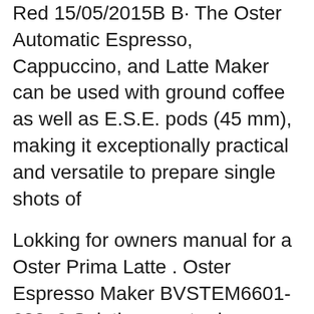Red 15/05/2015В В· The Oster Automatic Espresso, Cappuccino, and Latte Maker can be used with ground coffee as well as E.S.E. pods (45 mm), making it exceptionally practical and versatile to prepare single shots of
Lokking for owners manual for a Oster Prima Latte . Oster Espresso Maker BVSTEM6601-033. 0 Solutions. water keeps coming out of steamer tube. Oster Espresso Maker BVSTECMP55-033. 0 Solutions. No green light. Oster Espresso Maker Bvstecmp55. 0 Solutions. where can I get a manual for the designer model of. Oster Espresso Maker 3470-82. 0 Solutions. When joining this site I was never вЂ¦